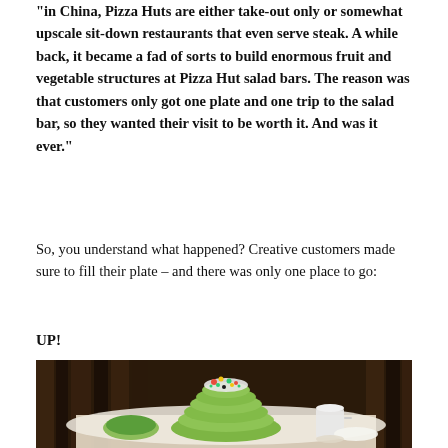"in China, Pizza Huts are either take-out only or somewhat upscale sit-down restaurants that even serve steak. A while back, it became a fad of sorts to build enormous fruit and vegetable structures at Pizza Hut salad bars. The reason was that customers only got one plate and one trip to the salad bar, so they wanted their visit to be worth it. And was it ever."
So, you understand what happened? Creative customers made sure to fill their plate – and there was only one place to go:
UP!
[Figure (photo): A large tower of green vegetables and colorful toppings stacked high on a plate at a Pizza Hut salad bar, surrounded by dishes and cups on a restaurant table.]